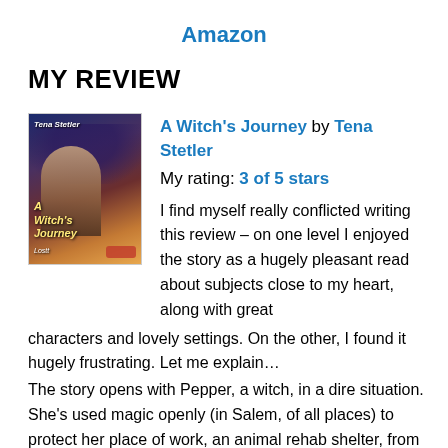Amazon
MY REVIEW
[Figure (illustration): Book cover of 'A Witch's Journey' by Tena Stetler showing a shirtless man with dark wings against a dramatic sky background, with the title in yellow italic text and a red car accent at the bottom]
A Witch's Journey by Tena Stetler
My rating: 3 of 5 stars
I find myself really conflicted writing this review – on one level I enjoyed the story as a hugely pleasant read about subjects close to my heart, along with great characters and lovely settings. On the other, I found it hugely frustrating. Let me explain…
The story opens with Pepper, a witch, in a dire situation. She's used magic openly (in Salem, of all places) to protect her place of work, an animal rehab shelter, from a